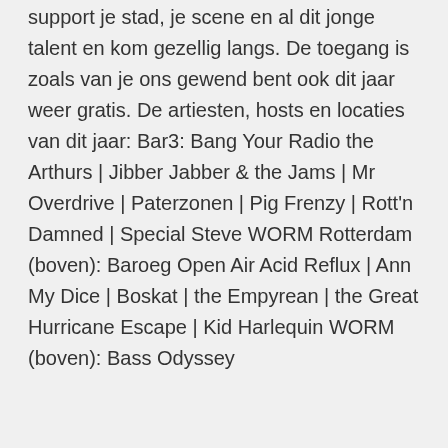support je stad, je scene en al dit jonge talent en kom gezellig langs. De toegang is zoals van je ons gewend bent ook dit jaar weer gratis. De artiesten, hosts en locaties van dit jaar: Bar3: Bang Your Radio the Arthurs | Jibber Jabber & the Jams | Mr Overdrive | Paterzonen | Pig Frenzy | Rott'n Damned | Special Steve WORM Rotterdam (boven): Baroeg Open Air Acid Reflux | Ann My Dice | Boskat | the Empyrean | the Great Hurricane Escape | Kid Harlequin WORM (boven): Bass Odyssey